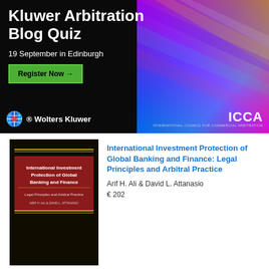[Figure (infographic): Kluwer Arbitration Blog Quiz promotional banner. Black background with colorful abstract spectrum on the right. Text: 'Kluwer Arbitration Blog Quiz', '19 September in Edinburgh', green 'Register Now →' button, Wolters Kluwer logo and ICCA logo at bottom.]
[Figure (photo): Book cover of 'International Investment Protection of Global Banking and Finance: Legal Principles and Arbitral Practice' by Arif H. Ali & David L. Attanasio. Dark brown/black cover with red title area and gold lines.]
International Investment Protection of Global Banking and Finance: Legal Principles and Arbitral Practice
Arif H. Ali & David L. Attanasio
€ 202